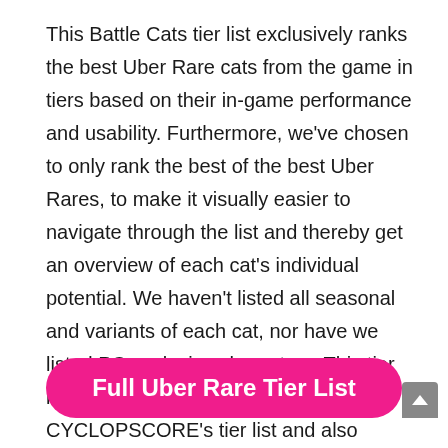This Battle Cats tier list exclusively ranks the best Uber Rare cats from the game in tiers based on their in-game performance and usability. Furthermore, we've chosen to only rank the best of the best Uber Rares, to make it visually easier to navigate through the list and thereby get an overview of each cat's individual potential. We haven't listed all seasonal and variants of each cat, nor have we listed PC exclusive characters. This tier list is heavily based on Reddit user CYCLOPSCORE's tier list and also influenced by the opinions of the Battle Cats subreddit and community. You can find a tier list with even more cats below, with each cat assigned a number instead of a rank.
Full Uber Rare Tier List